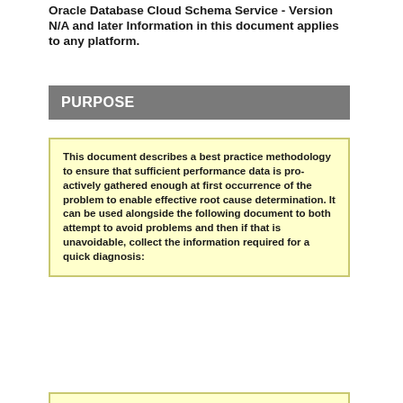Oracle Database Cloud Schema Service - Version N/A and later Information in this document applies to any platform.
PURPOSE
This document describes a best practice methodology to ensure that sufficient performance data is pro-actively gathered enough at first occurrence of the problem to enable effective root cause determination. It can be used alongside the following document to both attempt to avoid problems and then if that is unavoidable, collect the information required for a quick diagnosis: